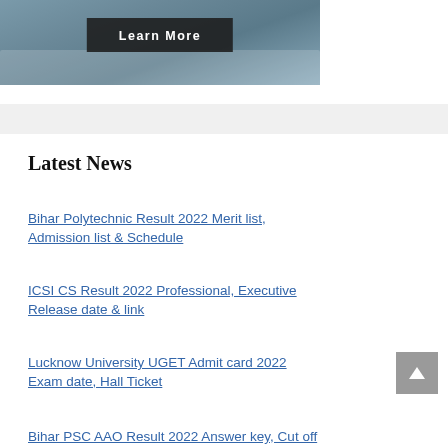[Figure (photo): Aerial/cityscape photo with a dark 'Learn More' button overlay in the center]
Latest News
Bihar Polytechnic Result 2022 Merit list, Admission list & Schedule
ICSI CS Result 2022 Professional, Executive Release date & link
Lucknow University UGET Admit card 2022 Exam date, Hall Ticket
Bihar PSC AAO Result 2022 Answer key, Cut off